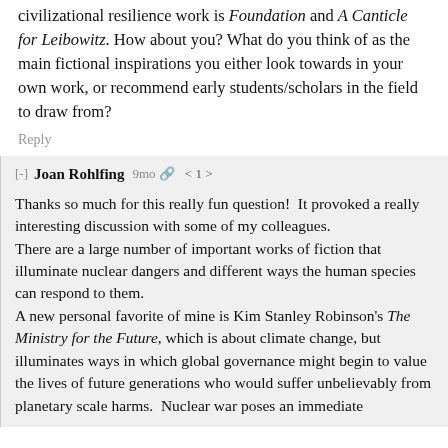civilizational resilience work is Foundation and A Canticle for Leibowitz. How about you? What do you think of as the main fictional inspirations you either look towards in your own work, or recommend early students/scholars in the field to draw from?
Reply
[-] Joan Rohlfing  9mo  1
Thanks so much for this really fun question!  It provoked a really interesting discussion with some of my colleagues.
There are a large number of important works of fiction that illuminate nuclear dangers and different ways the human species can respond to them.
A new personal favorite of mine is Kim Stanley Robinson's The Ministry for the Future, which is about climate change, but illuminates ways in which global governance might begin to value the lives of future generations who would suffer unbelievably from planetary scale harms. Nuclear war poses an immediate